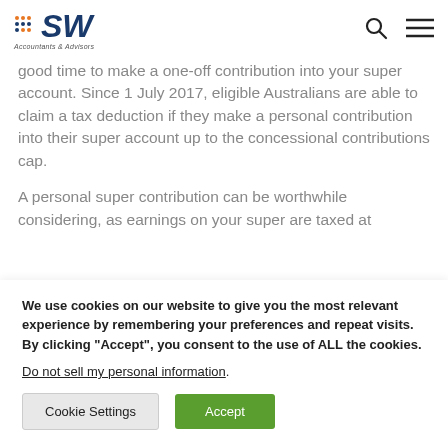SW Accountants & Advisors
good time to make a one-off contribution into your super account. Since 1 July 2017, eligible Australians are able to claim a tax deduction if they make a personal contribution into their super account up to the concessional contributions cap.
A personal super contribution can be worthwhile considering, as earnings on your super are taxed at
We use cookies on our website to give you the most relevant experience by remembering your preferences and repeat visits. By clicking “Accept”, you consent to the use of ALL the cookies.
Do not sell my personal information.